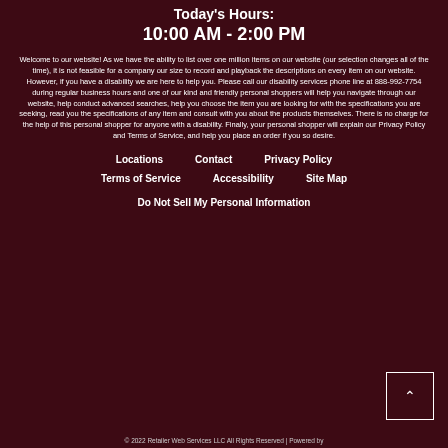Today's Hours:
10:00 AM - 2:00 PM
Welcome to our website! As we have the ability to list over one million items on our website (our selection changes all of the time), it is not feasible for a company our size to record and playback the descriptions on every item on our website. However, if you have a disability we are here to help you. Please call our disability services phone line at 888-992-7754 during regular business hours and one of our kind and friendly personal shoppers will help you navigate through our website, help conduct advanced searches, help you choose the item you are looking for with the specifications you are seeking, read you the specifications of any item and consult with you about the products themselves. There is no charge for the help of this personal shopper for anyone with a disability. Finally, your personal shopper will explain our Privacy Policy and Terms of Service, and help you place an order if you so desire.
Locations
Contact
Privacy Policy
Terms of Service
Accessibility
Site Map
Do Not Sell My Personal Information
© 2022 Retailer Web Services LLC All Rights Reserved | Powered by